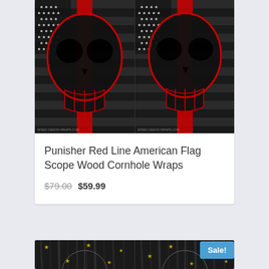[Figure (photo): Two side-by-side images of Punisher skull with American flag red line design on black background, for cornhole board wraps]
Punisher Red Line American Flag Scope Wood Cornhole Wraps
$79.00 $59.99
[Figure (photo): Two side-by-side images of scope/crosshair design on dark wood American flag with yellow stars, for cornhole board wraps. Sale badge visible on right image.]